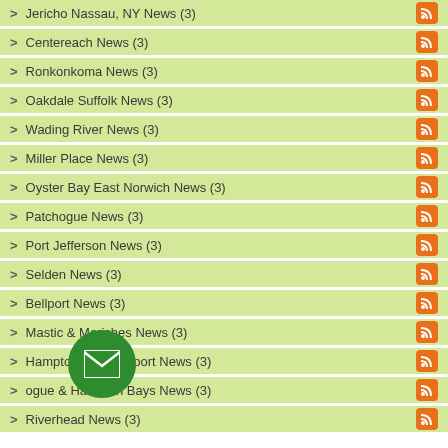Jericho Nassau, NY News (3)
Centereach News (3)
Ronkonkoma News (3)
Oakdale Suffolk News (3)
Wading River News (3)
Miller Place News (3)
Oyster Bay East Norwich News (3)
Patchogue News (3)
Port Jefferson News (3)
Selden News (3)
Bellport News (3)
Mastic & Moriches News (3)
Hampton and Eastport News (3)
ogue & Hampton Bays News (3)
Riverhead News (3)